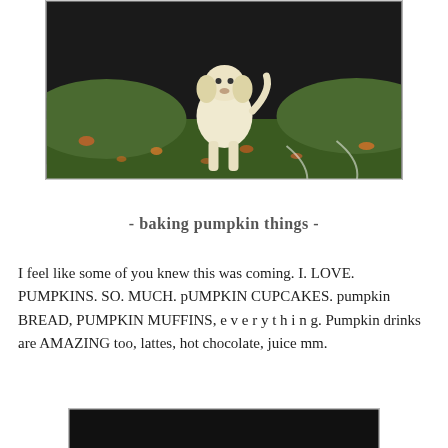[Figure (photo): A yellow Labrador dog standing outdoors on a grassy area with fallen autumn leaves and a dark pavement. A large yellow-green tennis ball is visible in the foreground.]
- baking pumpkin things -
I feel like some of you knew this was coming. I. LOVE. PUMPKINS. SO. MUCH. pUMPKIN CUPCAKES. pumpkin BREAD, PUMPKIN MUFFINS, e v e r y t h i n g. Pumpkin drinks are AMAZING too, lattes, hot chocolate, juice mm.
[Figure (photo): Partial view of another photo at the bottom of the page, mostly dark/black.]